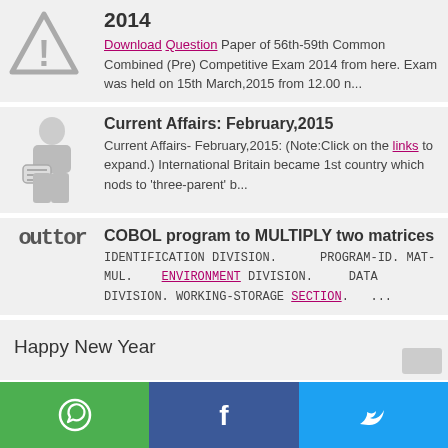2014
Download Question Paper of 56th-59th Common Combined (Pre) Competitive Exam 2014 from here. Exam was held on 15th March,2015 from 12.00 n...
Current Affairs: February,2015
Current Affairs- February,2015: (Note:Click on the links to expand.) International Britain became 1st country which nods to 'three-parent' b...
COBOL program to MULTIPLY two matrices
IDENTIFICATION DIVISION.   PROGRAM-ID. MAT-MUL...   ENVIRONMENT DIVISION.   DATA DIVISION. WORKING-STORAGE SECTION.   ...
Happy New Year
WhatsApp Facebook Twitter